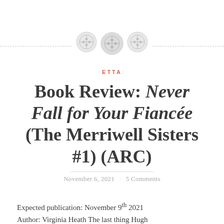[Figure (illustration): Decorative divider with three button icons and dashed horizontal line]
ETTA
Book Review: Never Fall for Your Fiancée (The Merriwell Sisters #1) (ARC)
November 6, 2021 · 5 Comments
Expected publication: November 9th 2021 Author: Virginia Heath The last thing Hugh